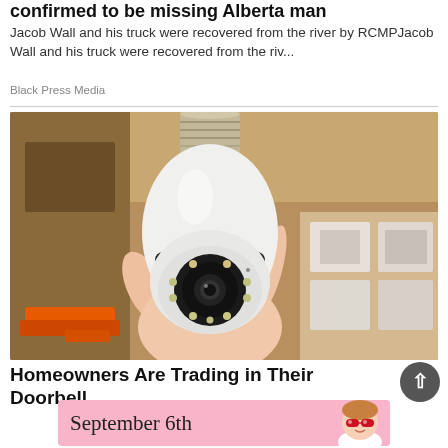confirmed to be missing Alberta man
Jacob Wall and his truck were recovered from the river by RCMPJacob Wall and his truck were recovered from the riv...
Black Press Media
[Figure (photo): A hand holding a light bulb security camera with a black circular lens and LED lights arranged around it. The background shows a wooden shelf or cabinet.]
Homeowners Are Trading in Their Doorbell
[Figure (photo): Pink advertisement banner showing 'September 6th' text with a photo of a child wearing heart-shaped red sunglasses on the right side.]